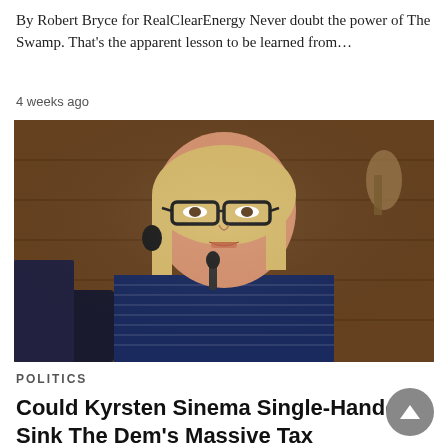By Robert Bryce for RealClearEnergy Never doubt the power of The Swamp. That's the apparent lesson to be learned from…
4 weeks ago
[Figure (photo): Photograph of Kyrsten Sinema, a blonde woman with dark-rimmed glasses and a dark earring, wearing a navy striped top, speaking or testifying, with a dark wood paneled background.]
POLITICS
Could Kyrsten Sinema Single-Handedly Sink The Dem's Massive Tax Hike/Global Warming Bill?
Once again, Americans are relying on so called "moderate"